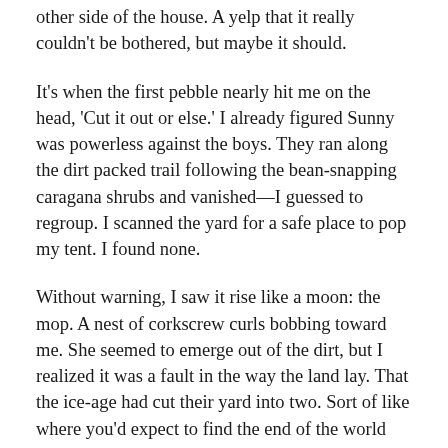other side of the house. A yelp that it really couldn't be bothered, but maybe it should.
It's when the first pebble nearly hit me on the head, 'Cut it out or else.' I already figured Sunny was powerless against the boys. They ran along the dirt packed trail following the bean-snapping caragana shrubs and vanished—I guessed to regroup. I scanned the yard for a safe place to pop my tent. I found none.
Without warning, I saw it rise like a moon: the mop. A nest of corkscrew curls bobbing toward me. She seemed to emerge out of the dirt, but I realized it was a fault in the way the land lay. That the ice-age had cut their yard into two. Sort of like where you'd expect to find the end of the world and hell on the other.
Having lived in Prince Albert all my life, hair like hers